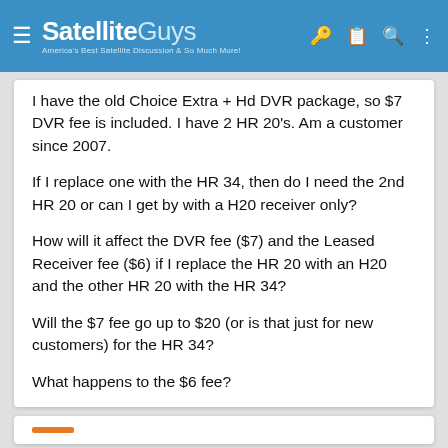SatelliteGuys — America's Best Satellite Discussion & So Much More!
I have the old Choice Extra + Hd DVR package, so $7 DVR fee is included. I have 2 HR 20's. Am a customer since 2007.
If I replace one with the HR 34, then do I need the 2nd HR 20 or can I get by with a H20 receiver only?
How will it affect the DVR fee ($7) and the Leased Receiver fee ($6) if I replace the HR 20 with an H20 and the other HR 20 with the HR 34?
Will the $7 fee go up to $20 (or is that just for new customers) for the HR 34?
What happens to the $6 fee?